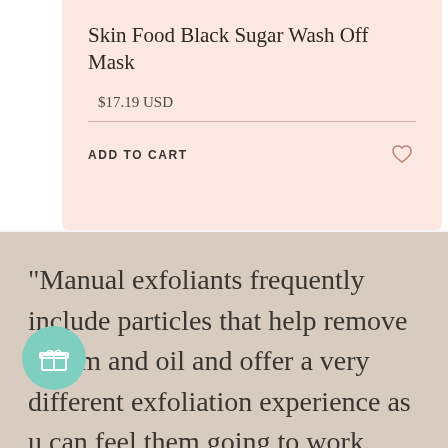Skin Food Black Sugar Wash Off Mask
$17.19 USD
ADD TO CART
"Manual exfoliants frequently include particles that help remove sebum and oil and offer a very different exfoliation experience as u can feel them going to work. Unlike chemical exfoliants, the